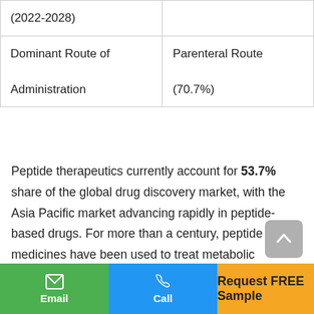| (2022-2028) |  |
| --- | --- |
| Dominant Route of Administration | Parenteral Route (70.7%) |
Peptide therapeutics currently account for 53.7% share of the global drug discovery market, with the Asia Pacific market advancing rapidly in peptide-based drugs. For more than a century, peptide medicines have been used to treat metabolic illnesses. In comparison to tiny chemical compounds, peptide drugs offer numerous advantages, resulting in huge demand across geographies.
Email | Call | Request FREE Sample